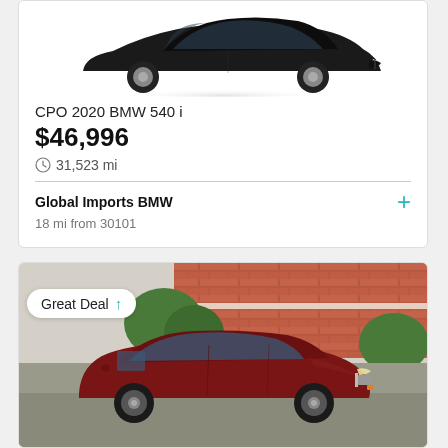[Figure (photo): Front view of a dark-colored BMW 540i sedan on white background]
CPO 2020 BMW 540 i
$46,996
31,523 mi
Global Imports BMW
18 mi from 30101
[Figure (photo): Red/maroon Subaru Legacy or Outback parked outside a brick building, with a 'Great Deal' badge overlay]
Great Deal ↑